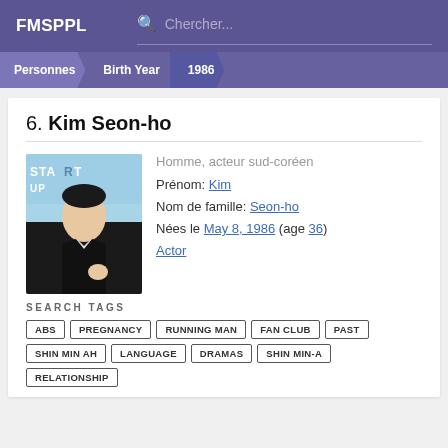FMSPPL  Chercher...
Personnes > Birth Year > 1986
6. Kim Seon-ho
[Figure (photo): Photo of Kim Seon-ho at a Start-Up event, wearing a black suit, making a heart gesture]
Homme, acteur sud-coréen
Prénom: Kim
Nom de famille: Seon-ho
Nées le May 8, 1986 (age 36)
Actor
SEARCH TAGS
ABS
PREGNANCY
RUNNING MAN
FAN CLUB
PAST
SHIN MIN AH
LANGUAGE
DRAMAS
SHIN MIN-A
RELATIONSHIP